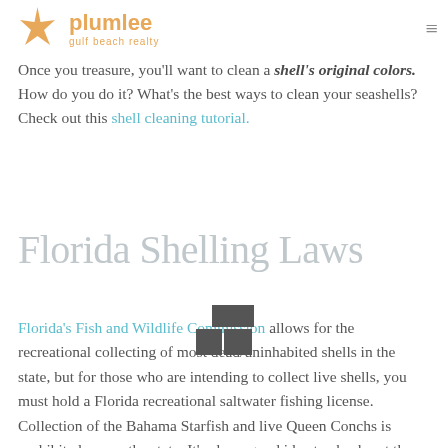Plumlee Gulf Beach Realty
Once you treasure, you'll want to clean a shell's original colors. How do you do it? What's the best ways to clean your seashells? Check out this shell cleaning tutorial.
Florida Shelling Laws
Florida's Fish and Wildlife Commission allows for the recreational collecting of most dead/uninhabited shells in the state, but for those who are intending to collect live shells, you must hold a Florida recreational saltwater fishing license. Collection of the Bahama Starfish and live Queen Conchs is prohibited across the state. It's also a good idea to check out the local laws in regards to any other regulations on shell collecting. Sometimes counties, state and national parks, and wildlife refuges